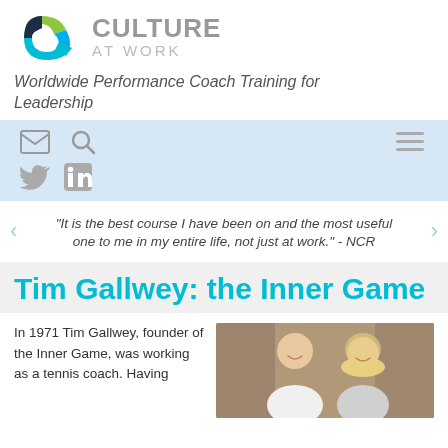[Figure (logo): Culture At Work logo with circular icon in teal/green/blue and text 'CULTURE AT WORK']
Worldwide Performance Coach Training for Leadership
[Figure (screenshot): Navigation bar with email, search, hamburger menu icons, and social media icons for Twitter and LinkedIn]
"It is the best course I have been on and the most useful one to me in my entire life, not just at work." - NCR
Tim Gallwey: the Inner Game
In 1971 Tim Gallwey, founder of the Inner Game, was working as a tennis coach. Having
[Figure (photo): Photo of two people smiling, a man and a woman, indoors]